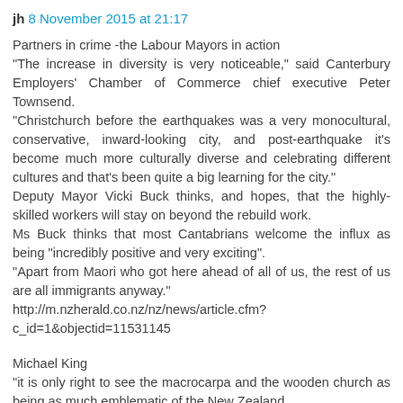jh 8 November 2015 at 21:17
Partners in crime -the Labour Mayors in action
"The increase in diversity is very noticeable," said Canterbury Employers' Chamber of Commerce chief executive Peter Townsend.
"Christchurch before the earthquakes was a very monocultural, conservative, inward-looking city, and post-earthquake it's become much more culturally diverse and celebrating different cultures and that's been quite a big learning for the city."
Deputy Mayor Vicki Buck thinks, and hopes, that the highly-skilled workers will stay on beyond the rebuild work.
Ms Buck thinks that most Cantabrians welcome the influx as being "incredibly positive and very exciting".
"Apart from Maori who got here ahead of all of us, the rest of us are all immigrants anyway."
http://m.nzherald.co.nz/nz/news/article.cfm?c_id=1&objectid=11531145
Michael King
"it is only right to see the macrocarpa and the wooden church as being as much emblematic of the New Zealand